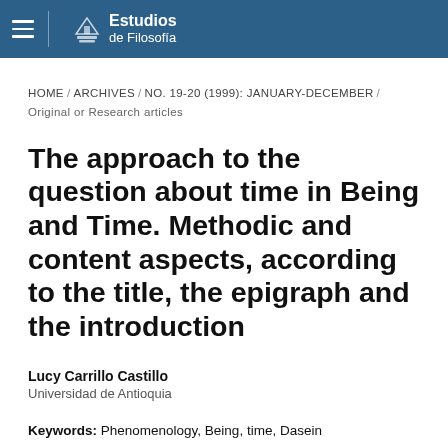Estudios de Filosofía
HOME / ARCHIVES / NO. 19-20 (1999): JANUARY-DECEMBER / Original or Research articles
The approach to the question about time in Being and Time. Methodic and content aspects, according to the title, the epigraph and the introduction
Lucy Carrillo Castillo
Universidad de Antioquia
Keywords: Phenomenology, Being, time, Dasein